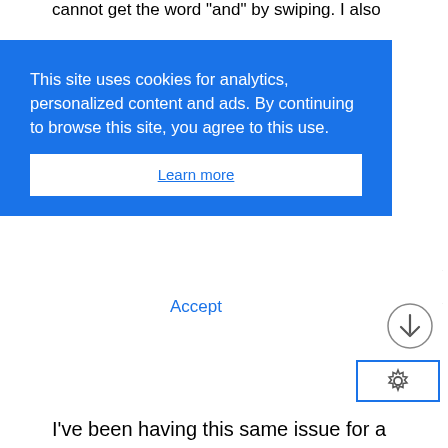cannot get the word "and" by swiping. I also
[Figure (screenshot): Blue cookie consent banner overlay with text: 'This site uses cookies for analytics, personalized content and ads. By continuing to browse this site, you agree to this use.' with a 'Learn more' link button and an 'Accept' button below.]
[Figure (other): Circular download arrow button icon]
[Figure (other): Settings gear icon inside a blue-bordered rectangle button]
I've been having this same issue for a while. When I long press and tell SK to forget the capitalized word, it will still come back and Capitalize it next time anyway. GREAT EXAMPLE here! It just auto capitalized the word "Capitalize". I have the keyboard set up in English and Spanish. It's actually an annoying enough and frequent enough issue that I am considering changing to another